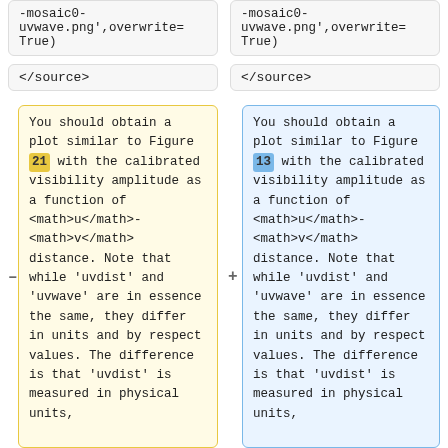-mosaic0-
uvwave.png',overwrite=
True)
-mosaic0-
uvwave.png',overwrite=
True)
</source>
</source>
You should obtain a plot similar to Figure 21 with the calibrated visibility amplitude as a function of <math>u</math>-<math>v</math> distance. Note that while 'uvdist' and 'uvwave' are in essence the same, they differ in units and by respect values. The difference is that 'uvdist' is measured in physical units,
You should obtain a plot similar to Figure 13 with the calibrated visibility amplitude as a function of <math>u</math>-<math>v</math> distance. Note that while 'uvdist' and 'uvwave' are in essence the same, they differ in units and by respect values. The difference is that 'uvdist' is measured in physical units,